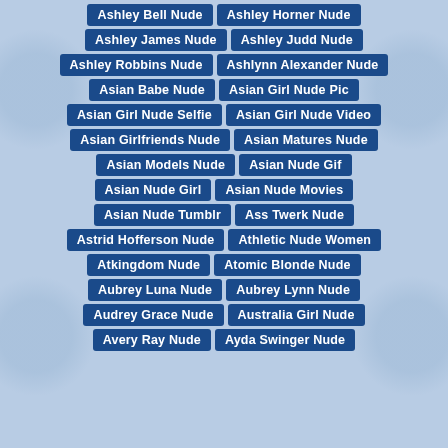Ashley Bell Nude
Ashley Horner Nude
Ashley James Nude
Ashley Judd Nude
Ashley Robbins Nude
Ashlynn Alexander Nude
Asian Babe Nude
Asian Girl Nude Pic
Asian Girl Nude Selfie
Asian Girl Nude Video
Asian Girlfriends Nude
Asian Matures Nude
Asian Models Nude
Asian Nude Gif
Asian Nude Girl
Asian Nude Movies
Asian Nude Tumblr
Ass Twerk Nude
Astrid Hofferson Nude
Athletic Nude Women
Atkingdom Nude
Atomic Blonde Nude
Aubrey Luna Nude
Aubrey Lynn Nude
Audrey Grace Nude
Australia Girl Nude
Avery Ray Nude
Ayda Swinger Nude